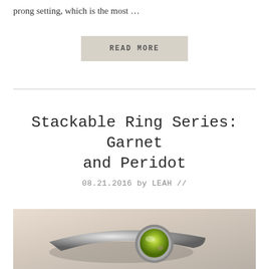prong setting, which is the most ...
READ MORE
Stackable Ring Series: Garnet and Peridot
08.21.2016 by LEAH //
[Figure (photo): Close-up photo of a silver ring with a bezel-set peridot (yellow-green gemstone), photographed on a light wood surface]